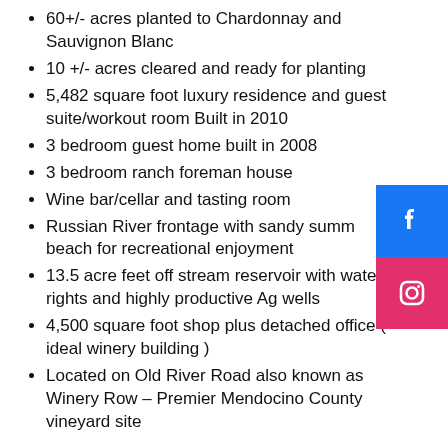60+/- acres planted to Chardonnay and Sauvignon Blanc
10 +/- acres cleared and ready for planting
5,482 square foot luxury residence and guest suite/workout room Built in 2010
3 bedroom guest home built in 2008
3 bedroom ranch foreman house
Wine bar/cellar and tasting room
Russian River frontage with sandy summer beach for recreational enjoyment
13.5 acre feet off stream reservoir with water rights and highly productive Ag wells
4,500 square foot shop plus detached office ( ideal winery building )
Located on Old River Road also known as Winery Row – Premier Mendocino County vineyard site
[Figure (logo): Facebook logo icon on blue square background]
[Figure (logo): Instagram logo icon on pink/red square background]